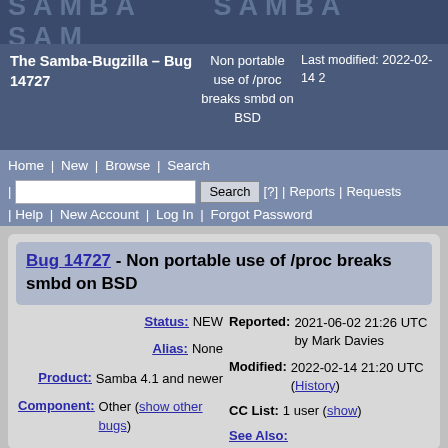[Figure (logo): Samba banner logo repeated, dark blue background with gray Samba text]
The Samba-Bugzilla – Bug 14727   Non portable use of /proc breaks smbd on BSD   Last modified: 2022-02-14 2...
Home | New | Browse | Search | [?] | Reports | Requests | Help | New Account | Log In | Forgot Password
Bug 14727 - Non portable use of /proc breaks smbd on BSD
Status: NEW
Reported: 2021-06-02 21:26 UTC by Mark Davies
Alias: None
Modified: 2022-02-14 21:20 UTC (History)
CC List: 1 user (show)
Product: Samba 4.1 and newer
Component: Other (show other bugs)
See Also: